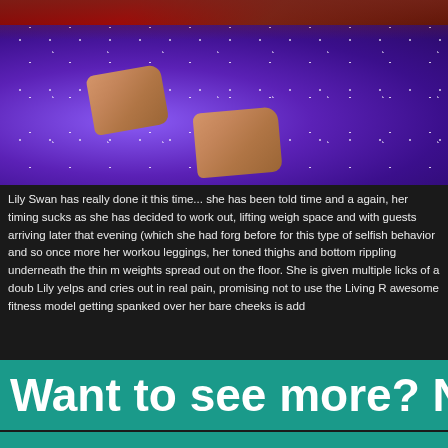[Figure (photo): Person doing push-up or crawl position on a purple sparkly yoga mat, with hands visible pressing on the mat. A red patterned rug/blanket is visible at the top. Wooden floor underneath.]
Lily Swan has really done it this time... she has been told time and again, her timing sucks as she has decided to work out, lifting weights space and with guests arriving later that evening (which she had forgotten) before for this type of selfish behavior and so once more her workout leggings, her toned thighs and bottom rippling underneath the thin material, weights spread out on the floor. She is given multiple licks of a double, Lily yelps and cries out in real pain, promising not to use the Living Room awesome fitness model getting spanked over her bare cheeks is added
Want to see more?